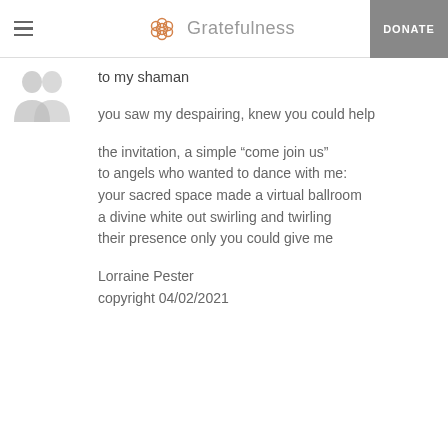Gratefulness | DONATE
[Figure (illustration): Two overlapping gray silhouette profile avatars]
to my shaman
you saw my despairing, knew you could help

the invitation, a simple “come join us”
to angels who wanted to dance with me:
your sacred space made a virtual ballroom
a divine white out swirling and twirling
their presence only you could give me

Lorraine Pester
copyright 04/02/2021